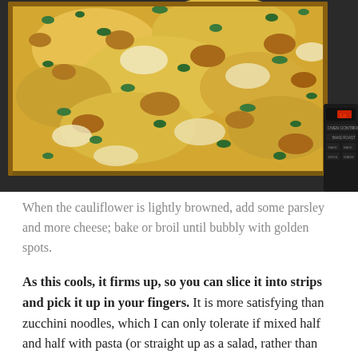[Figure (photo): A baking tray of cauliflower bake topped with melted golden-brown cheese and chopped parsley, on a kitchen stovetop with oven controls visible in the background.]
When the cauliflower is lightly browned, add some parsley and more cheese; bake or broil until bubbly with golden spots.
As this cools, it firms up, so you can slice it into strips and pick it up in your fingers. It is more satisfying than zucchini noodles, which I can only tolerate if mixed half and half with pasta (or straight up as a salad, rather than